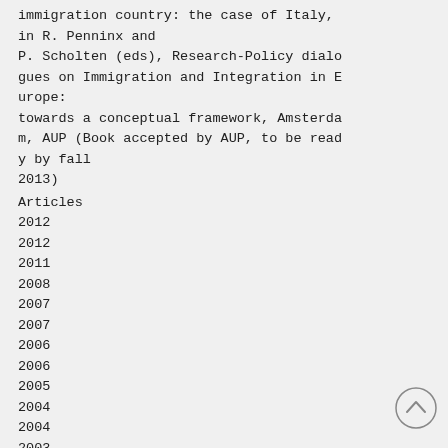immigration country: the case of Italy, in R. Penninx and P. Scholten (eds), Research-Policy dialogues on Immigration and Integration in Europe:
towards a conceptual framework, Amsterdam, AUP (Book accepted by AUP, to be ready by fall
2013)
Articles
2012
2012
2011
2008
2007
2007
2006
2006
2005
2004
2004
2003
2003
2000